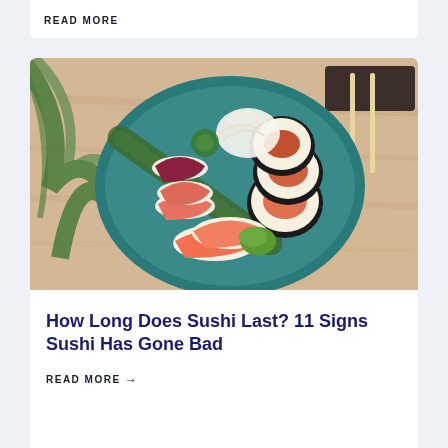READ MORE
[Figure (photo): A plate of assorted sushi including nigiri and maki rolls with salmon, tuna, and other fish, served on a teal plate with a bamboo leaf, wasabi, and pickled ginger. Chopsticks rest on a wooden holder to the right. Background is a light wooden table with a palm leaf visible on the left.]
How Long Does Sushi Last? 11 Signs Sushi Has Gone Bad
READ MORE →